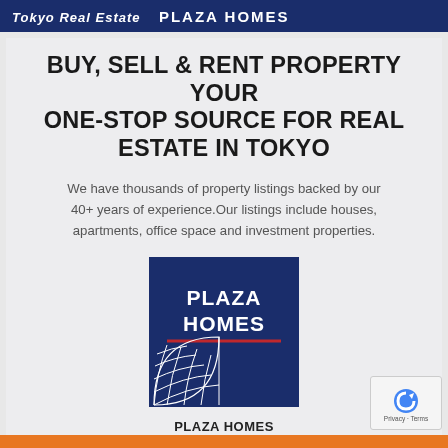Tokyo Real Estate  PLAZA HOMES
BUY, SELL & RENT PROPERTY YOUR ONE-STOP SOURCE FOR REAL ESTATE IN TOKYO
We have thousands of property listings backed by our 40+ years of experience.Our listings include houses, apartments, office space and investment properties.
[Figure (logo): Plaza Homes logo: dark blue square with white text 'PLAZA HOMES', a red horizontal line, and a globe/grid graphic in white on the lower left.]
PLAZA HOMES